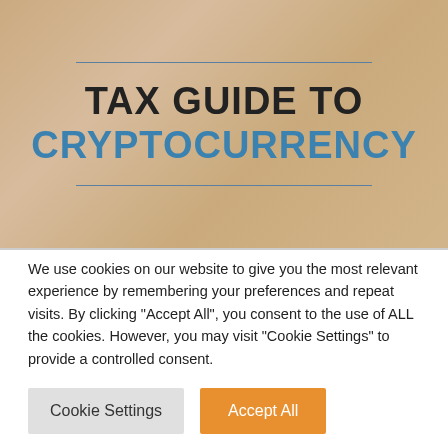[Figure (illustration): Hero banner image with a blurred office/library background in warm tan/beige tones. Contains decorative horizontal blue lines above and below the title text. Title reads 'TAX GUIDE TO CRYPTOCURRENCY' in two lines — first line in dark/black bold uppercase text, second line in blue bold uppercase text.]
We use cookies on our website to give you the most relevant experience by remembering your preferences and repeat visits. By clicking "Accept All", you consent to the use of ALL the cookies. However, you may visit "Cookie Settings" to provide a controlled consent.
Cookie Settings
Accept All